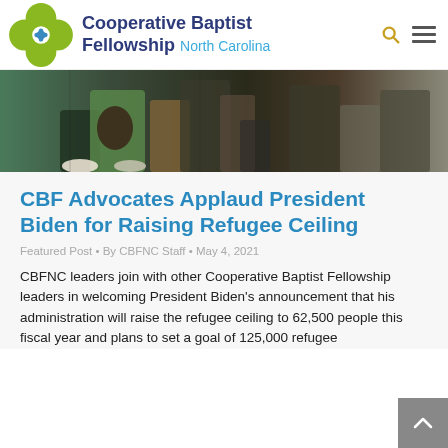Cooperative Baptist Fellowship North Carolina
[Figure (photo): Close-up photo of people holding hands, showing clothing and shoes, with colorful fabric visible.]
CBF Advocates Applaud President Biden for Raising Refugee Ceiling
Featured Post • By CBFNC Staff • May 4, 2021
CBFNC leaders join with other Cooperative Baptist Fellowship leaders in welcoming President Biden's announcement that his administration will raise the refugee ceiling to 62,500 people this fiscal year and plans to set a goal of 125,000 refugee